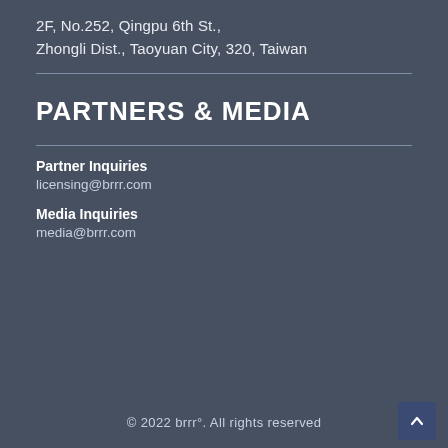2F, No.252, Qingpu 6th St.,
Zhongli Dist., Taoyuan City, 320, Taiwan
PARTNERS & MEDIA
Partner Inquiries
licensing@brrr.com
Media Inquiries
media@brrr.com
© 2022 brrr°. All rights reserved